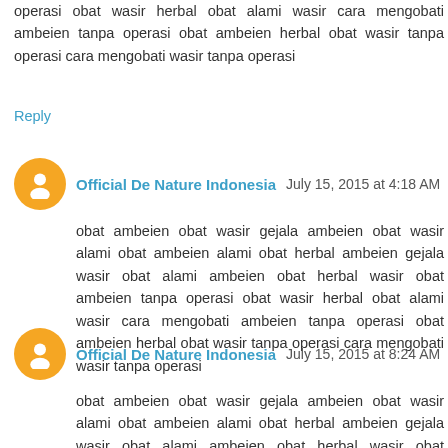operasi obat wasir herbal obat alami wasir cara mengobati ambeien tanpa operasi obat ambeien herbal obat wasir tanpa operasi cara mengobati wasir tanpa operasi
Reply
Official De Nature Indonesia July 15, 2015 at 4:18 AM
obat ambeien obat wasir gejala ambeien obat wasir alami obat ambeien alami obat herbal ambeien gejala wasir obat alami ambeien obat herbal wasir obat ambeien tanpa operasi obat wasir herbal obat alami wasir cara mengobati ambeien tanpa operasi obat ambeien herbal obat wasir tanpa operasi cara mengobati wasir tanpa operasi
Reply
Official De Nature Indonesia July 15, 2015 at 8:24 AM
obat ambeien obat wasir gejala ambeien obat wasir alami obat ambeien alami obat herbal ambeien gejala wasir obat alami ambeien obat herbal wasir obat ambeien tanpa operasi obat wasir herbal obat alami wasir cara mengobati